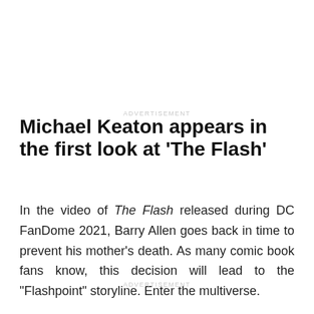ADVERTISEMENT
Michael Keaton appears in the first look at ‘The Flash’
In the video of The Flash released during DC FanDome 2021, Barry Allen goes back in time to prevent his mother’s death. As many comic book fans know, this decision will lead to the “Flashpoint” storyline. Enter the multiverse.
ADVERTISEMENT